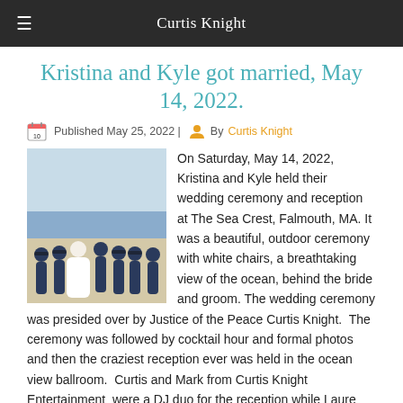Curtis Knight
Kristina and Kyle got married, May 14, 2022.
Published May 25, 2022 | By Curtis Knight
[Figure (photo): Wedding party photo outdoors near the ocean; bride in white dress surrounded by groomsmen in navy suits]
On Saturday, May 14, 2022, Kristina and Kyle held their wedding ceremony and reception at The Sea Crest, Falmouth, MA. It was a beautiful, outdoor ceremony with white chairs, a breathtaking view of the ocean, behind the bride and groom. The wedding ceremony was presided over by Justice of the Peace Curtis Knight.  The ceremony was followed by cocktail hour and formal photos and then the craziest reception ever was held in the ocean view ballroom.  Curtis and Mark from Curtis Knight Entertainment  were a DJ duo for the reception while Laure from Curtis Knight Entertainment shot professional photos.  View and buy images at